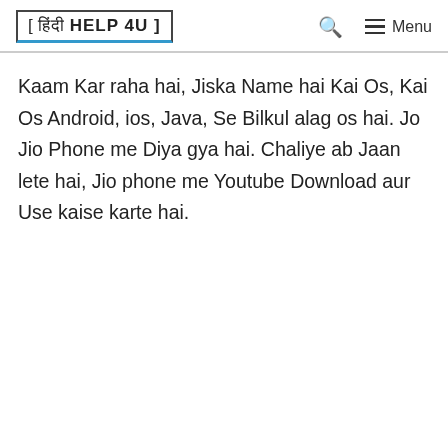[ हिंदी HELP 4U ]
Kaam Kar raha hai, Jiska Name hai Kai Os, Kai Os Android, ios, Java, Se Bilkul alag os hai. Jo Jio Phone me Diya gya hai. Chaliye ab Jaan lete hai, Jio phone me Youtube Download aur Use kaise karte hai.